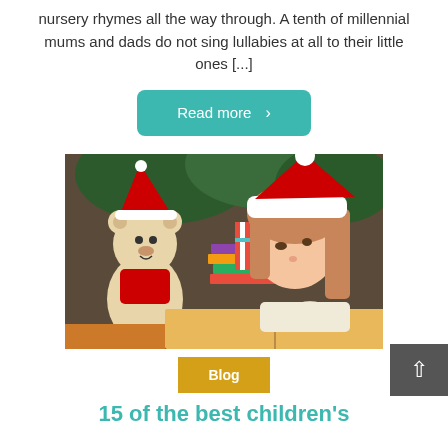nursery rhymes all the way through. A tenth of millennial mums and dads do not sing lullabies at all to their little ones [...]
Read more >
[Figure (photo): A young girl wearing a Santa hat reads a book next to a stuffed teddy bear also wearing a Santa hat, with Christmas decorations and stacked books in the background.]
Blog
15 of the best children's